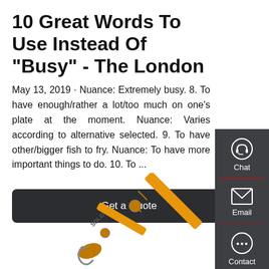10 Great Words To Use Instead Of "Busy" - The London
May 13, 2019 · Nuance: Extremely busy. 8. To have enough/rather a lot/too much on one's plate at the moment. Nuance: Varies according to alternative selected. 9. To have other/bigger fish to fry. Nuance: To have more important things to do. 10. To ...
[Figure (other): Get a Quote button - dark rectangular button with white text]
[Figure (screenshot): Sidebar panel with Chat (headset icon), Email (envelope icon), and Contact (speech bubble icon) options on dark grey background]
[Figure (photo): SDLG branded yellow excavator arm/boom against white background]